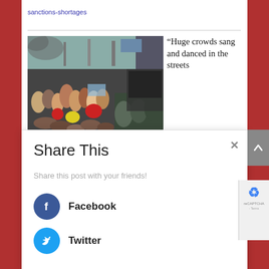sanctions-shortages
[Figure (photo): A large crowd of people gathered in the streets, with smoke visible in the background. Protestors and military/police personnel are visible.]
“Huge crowds sang and danced in the streets
Share This
Share this post with your friends!
Facebook
Twitter